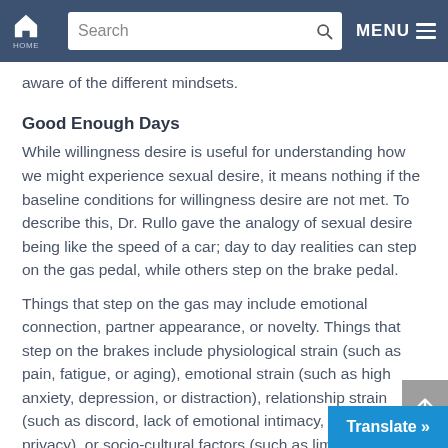Search | MENU
aware of the different mindsets.
Good Enough Days
While willingness desire is useful for understanding how we might experience sexual desire, it means nothing if the baseline conditions for willingness desire are not met. To describe this, Dr. Rullo gave the analogy of sexual desire being like the speed of a car; day to day realities can step on the gas pedal, while others step on the brake pedal.
Things that step on the gas may include emotional connection, partner appearance, or novelty. Things that step on the brakes include physiological strain (such as pain, fatigue, or aging), emotional strain (such as high anxiety, depression, or distraction), relationship strain (such as discord, lack of emotional intimacy, or lack of privacy), or socio-cultural factors (such as limited sexual education, or conflicting va